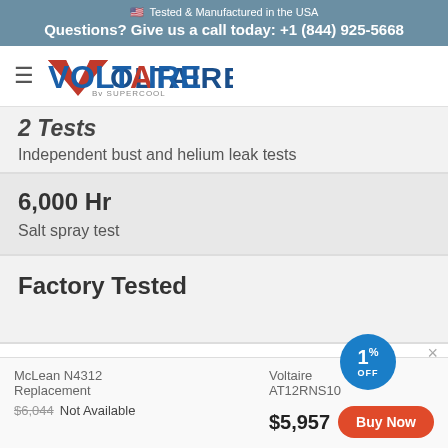🇺🇸 Tested & Manufactured in the USA
Questions? Give us a call today: +1 (844) 925-5668
[Figure (logo): Voltaire by Supercool logo with hamburger menu]
2 Tests
Independent bust and helium leak tests
6,000 Hr
Salt spray test
Factory Tested
McLean N4312 Replacement
$6,044 Not Available
Voltaire AT12RNS10
$5,957
[Figure (infographic): 1% OFF discount badge circle in blue]
×